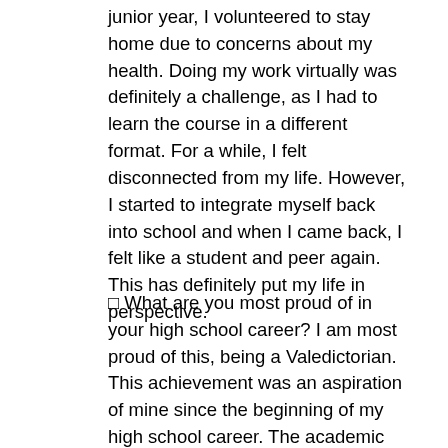junior year, I volunteered to stay home due to concerns about my health. Doing my work virtually was definitely a challenge, as I had to learn the course in a different format. For a while, I felt disconnected from my life. However, I started to integrate myself back into school and when I came back, I felt like a student and peer again. This has definitely put my life in perspective.
□ What are you most proud of in your high school career? I am most proud of this, being a Valedictorian. This achievement was an aspiration of mine since the beginning of my high school career. The academic path to get here has made me a more informed, enlightened, and motivated individual. I will also